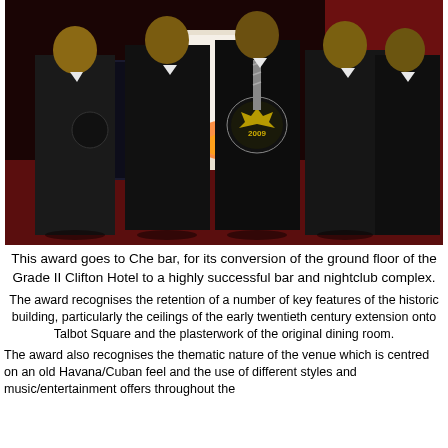[Figure (photo): Group of four men in dark suits standing in front of a red-carpeted room, with the central figure holding a circular award plaque marked '2009'.]
This award goes to Che bar, for its conversion of the ground floor of the Grade II Clifton Hotel to a highly successful bar and nightclub complex.
The award recognises the retention of a number of key features of the historic building, particularly the ceilings of the early twentieth century extension onto Talbot Square and the plasterwork of the original dining room.
The award also recognises the thematic nature of the venue which is centred on an old Havana/Cuban feel and the use of different styles and music/entertainment offers throughout the